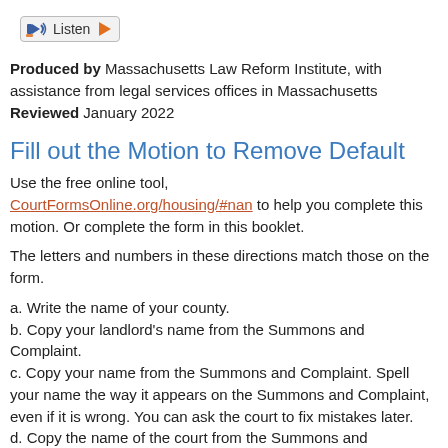[Figure (screenshot): Listen audio button with play icon]
Produced by  Massachusetts Law Reform Institute, with assistance from legal services offices in Massachusetts
Reviewed  January 2022
Fill out the Motion to Remove Default
Use the free online tool, CourtFormsOnline.org/housing/#nan to help you complete this motion. Or complete the form in this booklet.
The letters and numbers in these directions match those on the form.
a. Write the name of your county.
b. Copy your landlord's name from the Summons and Complaint.
c. Copy your name from the Summons and Complaint. Spell your name the way it appears on the Summons and Complaint, even if it is wrong. You can ask the court to fix mistakes later.
d. Copy the name of the court from the Summons and Complaint.
e. Fill in the Docket Number, if you know it. The Docket Number is the number the court has assigned to your case